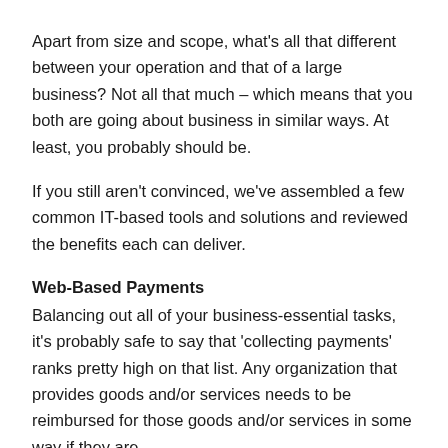Apart from size and scope, what's all that different between your operation and that of a large business? Not all that much – which means that you both are going about business in similar ways. At least, you probably should be.
If you still aren't convinced, we've assembled a few common IT-based tools and solutions and reviewed the benefits each can deliver.
Web-Based Payments
Balancing out all of your business-essential tasks, it's probably safe to say that 'collecting payments' ranks pretty high on that list. Any organization that provides goods and/or services needs to be reimbursed for those goods and/or services in some way if they are